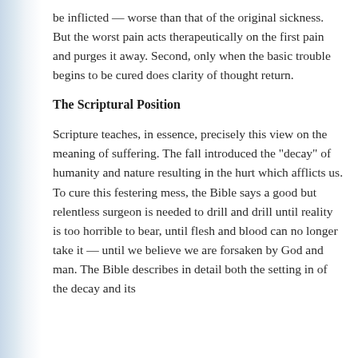be inflicted — worse than that of the original sickness. But the worst pain acts therapeutically on the first pain and purges it away. Second, only when the basic trouble begins to be cured does clarity of thought return.
The Scriptural Position
Scripture teaches, in essence, precisely this view on the meaning of suffering. The fall introduced the "decay" of humanity and nature resulting in the hurt which afflicts us. To cure this festering mess, the Bible says a good but relentless surgeon is needed to drill and drill until reality is too horrible to bear, until flesh and blood can no longer take it — until we believe we are forsaken by God and man. The Bible describes in detail both the setting in of the decay and its